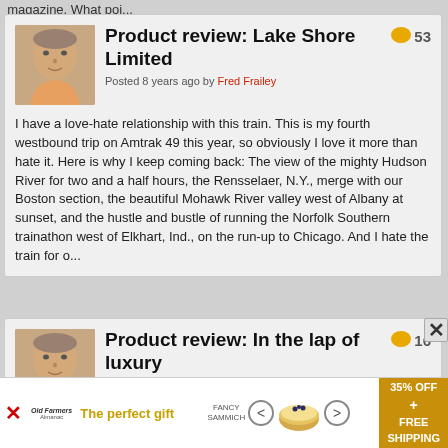magazine. What poi...
Product review: Lake Shore Limited
Posted 8 years ago by Fred Frailey
I have a love-hate relationship with this train. This is my fourth westbound trip on Amtrak 49 this year, so obviously I love it more than hate it. Here is why I keep coming back: The view of the mighty Hudson River for two and a half hours, the Rensselaer, N.Y., merge with our Boston section, the beautiful Mohawk River valley west of Albany at sunset, and the hustle and bustle of running the Norfolk Southern trainathon west of Elkhart, Ind., on the run-up to Chicago. And I hate the train for o...
Product review: In the lap of luxury
Posted 8 years ago by Fred Frailey
[Figure (other): Advertisement banner: The perfect gift, 35% OFF + FREE SHIPPING]